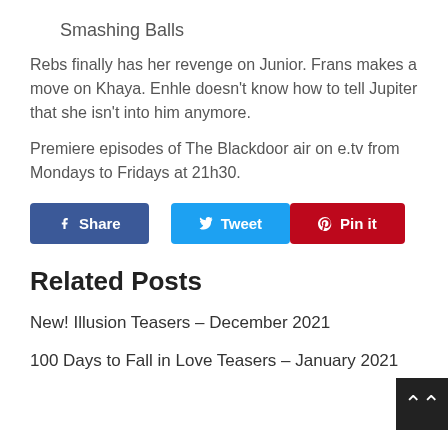Smashing Balls
Rebs finally has her revenge on Junior. Frans makes a move on Khaya. Enhle doesn't know how to tell Jupiter that she isn't into him anymore.
Premiere episodes of The Blackdoor air on e.tv from Mondays to Fridays at 21h30.
[Figure (other): Social share buttons: Share (Facebook, blue), Tweet (Twitter, light blue), Pin it (Pinterest, red)]
Related Posts
New! Illusion Teasers – December 2021
100 Days to Fall in Love Teasers – January 2021